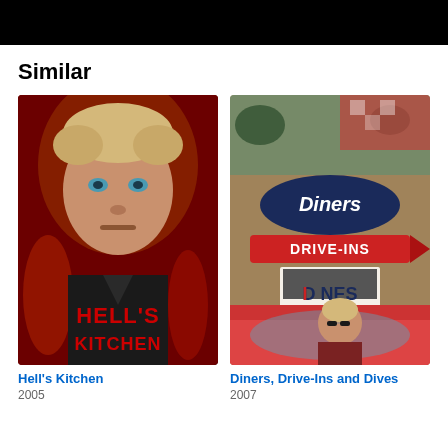[Figure (screenshot): Black banner at top of page]
Similar
[Figure (photo): Hell's Kitchen TV show poster featuring Gordon Ramsay with red fiery background and the title 'HELL'S KITCHEN' in red letters]
Hell's Kitchen
2005
[Figure (photo): Diners, Drive-Ins and Dives TV show poster featuring Guy Fieri with the show logo sign]
Diners, Drive-Ins and Dives
2007